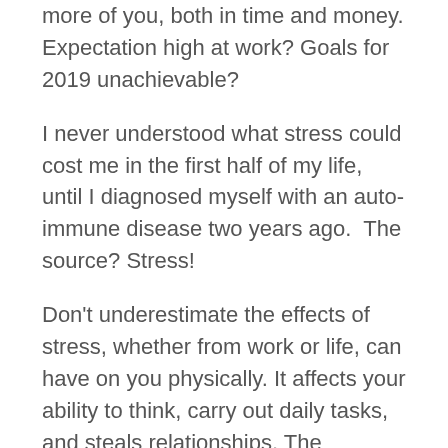more of you, both in time and money. Expectation high at work? Goals for 2019 unachievable?
I never understood what stress could cost me in the first half of my life, until I diagnosed myself with an auto-immune disease two years ago.  The source? Stress!
Don't underestimate the effects of stress, whether from work or life, can have on you physically. It affects your ability to think, carry out daily tasks, and steals relationships. The unfortunate thing is that you don't even see it coming. It's like sand in the hourglass. Only until the sand has reached the other side of the hourglass do you find